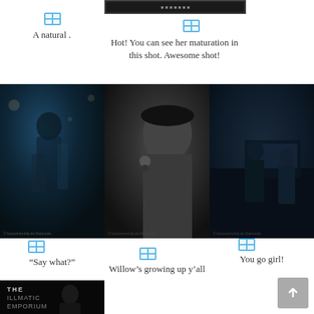[Figure (photo): Small website screenshot at top]
[Figure (other): Grid/table icon above left column]
A natural .
[Figure (other): Grid/table icon above center column]
Hot! You can see her maturation in this shot. Awesome shot!
[Figure (photo): Left fashion photo - young person in teal outfit on dark street]
[Figure (photo): Center black and white profile portrait photo]
[Figure (photo): Right photo - person in denim outfit next to car with child]
[Figure (other): Grid/table icon above left bottom caption]
“Say what?”
[Figure (other): Grid/table icon above center bottom caption]
Willow’s growing up y’all
[Figure (other): Grid/table icon above right bottom caption]
You go girl!
[Figure (photo): Bottom left photo - person in dark outfit with text overlay THE ILLMATIC EMPORIUM]